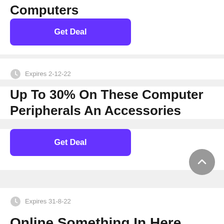Computers
Get Deal
Expires 2-12-22
Up To 30% On These Computer Peripherals An Accessories
Get Deal
Expires 31-8-22
Online Something Deal...